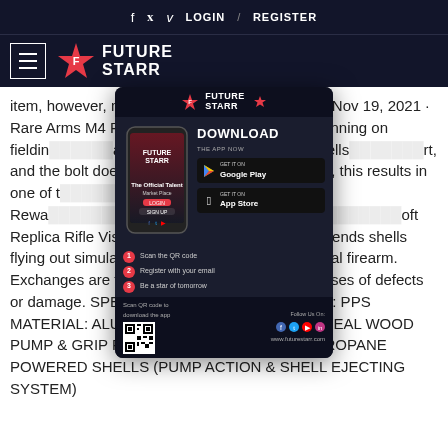f  twitter  v  LOGIN  /  REGISTER
[Figure (logo): FutureStarr logo with hamburger menu on dark navy background]
item, however, may qualify for free shipping. 90: Nov 19, 2021 · Rare Arms M4 R-[partially hidden] 1. If you're planning on fielding [hidden] aste your time or money. The shells [hidden] rt, and the bolt does not reciproc[hidden] emarks, this results in one of t[hidden] developed so far. 70 Earn 11 Rewa[hidden] eta Spetsnaz Bolt Action Shell [hidden] oft Replica Rifle Visit the Evike Store. This system sends shells flying out simulating the ejection of brass on a real firearm. Exchanges are for the same or similar item in cases of defects or damage. SPECIFICATIONS MANUFACTURE: PPS MATERIAL: ALUMINUM ALLOY, ZINC ALLOY, REAL WOOD PUMP & GRIP POWERED BY: GREEN GAS/PROPANE POWERED SHELLS (PUMP ACTION & SHELL EJECTING SYSTEM)
[Figure (screenshot): FutureStarr app download popup with phone mockup, Google Play and App Store buttons, QR code, and steps]